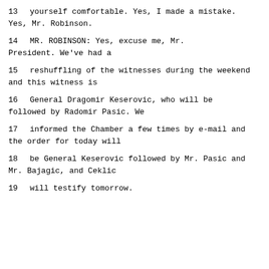13     yourself comfortable.  Yes, I made a mistake. Yes, Mr. Robinson.
14          MR. ROBINSON:  Yes, excuse me, Mr. President.  We've had a
15      reshuffling of the witnesses during the weekend and this witness is
16      General Dragomir Keserovic, who will be followed by Radomir Pasic.  We
17      informed the Chamber a few times by e-mail and the order for today will
18      be General Keserovic followed by Mr. Pasic and Mr. Bajagic, and Ceklic
19      will testify tomorrow.